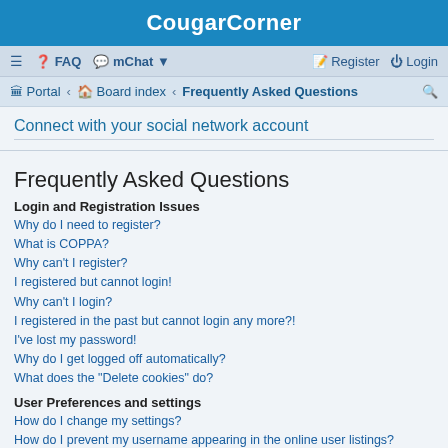CougarCorner
≡  FAQ  mChat ▼    Register  Login
Portal · Board index · Frequently Asked Questions
Connect with your social network account
Frequently Asked Questions
Login and Registration Issues
Why do I need to register?
What is COPPA?
Why can't I register?
I registered but cannot login!
Why can't I login?
I registered in the past but cannot login any more?!
I've lost my password!
Why do I get logged off automatically?
What does the "Delete cookies" do?
User Preferences and settings
How do I change my settings?
How do I prevent my username appearing in the online user listings?